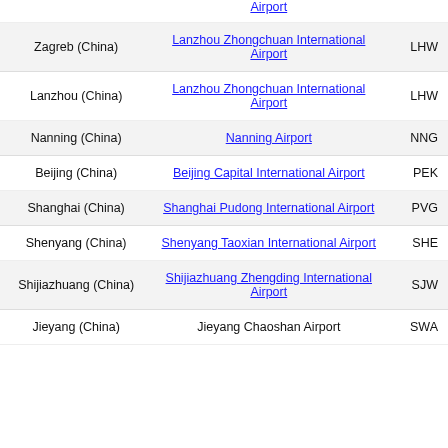| City | Airport | Code |
| --- | --- | --- |
| Zagreb (China) | Lanzhou Zhongchuan International Airport | LHW |
| Lanzhou (China) | Lanzhou Zhongchuan International Airport | LHW |
| Nanning (China) | Nanning Airport | NNG |
| Beijing (China) | Beijing Capital International Airport | PEK |
| Shanghai (China) | Shanghai Pudong International Airport | PVG |
| Shenyang (China) | Shenyang Taoxian International Airport | SHE |
| Shijiazhuang (China) | Shijiazhuang Zhengding International Airport | SJW |
| Jieyang (China) | Jieyang Chaoshan Airport | SWA |